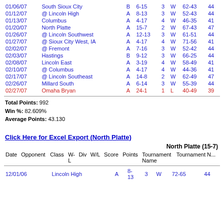| Date | Opponent | Class | W-L | Div | W/L | Score | Points |
| --- | --- | --- | --- | --- | --- | --- | --- |
| 01/06/07 | South Sioux City | B | 6-15 | 3 | W | 62-43 | 44 |
| 01/12/07 | @ Lincoln High | A | 8-13 | 3 | W | 52-43 | 44 |
| 01/13/07 | Columbus | A | 4-17 | 4 | W | 46-35 | 41 |
| 01/20/07 | North Platte | A | 15-7 | 2 | W | 67-43 | 47 |
| 01/26/07 | @ Lincoln Southwest | A | 12-13 | 3 | W | 61-51 | 44 |
| 01/27/07 | @ Sioux City West, IA | A | 4-17 | 4 | W | 71-56 | 41 |
| 02/02/07 | @ Fremont | A | 7-16 | 3 | W | 52-42 | 44 |
| 02/03/07 | Hastings | B | 9-12 | 3 | W | 66-25 | 44 |
| 02/08/07 | Lincoln East | A | 3-19 | 4 | W | 58-49 | 41 |
| 02/10/07 | @ Columbus | A | 4-17 | 4 | W | 44-36 | 41 |
| 02/17/07 | @ Lincoln Southeast | A | 14-8 | 2 | W | 62-49 | 47 |
| 02/26/07 | Millard South | A | 6-14 | 3 | W | 55-39 | 44 |
| 02/27/07 | Omaha Bryan | A | 24-1 | 1 | L | 40-49 | 39 |
Total Points: 992
Win %: 82.609%
Average Points: 43.130
Click Here for Excel Export (North Platte)
| Date | Opponent | Class | W-L | Div | W/L | Score | Points | Tournament Name | Tournament Name (cont) |
| --- | --- | --- | --- | --- | --- | --- | --- | --- | --- |
| 12/01/06 | Lincoln High | A | 8-13 | 3 | W | 72-65 | 44 |